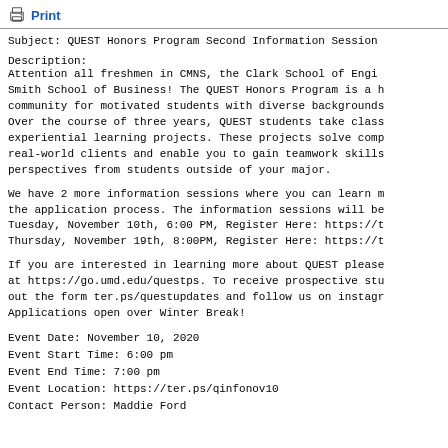Print
Subject: QUEST Honors Program Second Information Session
Description:
Attention all freshmen in CMNS, the Clark School of Engineering, and the Smith School of Business! The QUEST Honors Program is a honors learning community for motivated students with diverse backgrounds and interests. Over the course of three years, QUEST students take classes and complete experiential learning projects. These projects solve complex problems for real-world clients and enable you to gain teamwork skills and diverse perspectives from students outside of your major.
We have 2 more information sessions where you can learn more about QUEST and the application process. The information sessions will be held:
Tuesday, November 10th, 6:00 PM, Register Here: https://t...
Thursday, November 19th, 8:00PM, Register Here: https://t...
If you are interested in learning more about QUEST please visit our website at https://go.umd.edu/questps. To receive prospective student updates, fill out the form ter.ps/questupdates and follow us on instagram @questumd. Applications open over Winter Break!
Event Date: November 10, 2020
Event Start Time: 6:00 pm
Event End Time: 7:00 pm
Event Location: https://ter.ps/qinfonov10
Contact Person: Maddie Ford